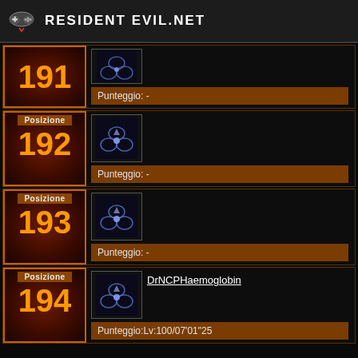RESIDENT EVIL.NET
| Posizione | Emblem | Username | Punteggio |
| --- | --- | --- | --- |
| 191 |  |  | Punteggio: - |
| 192 |  |  | Punteggio: - |
| 193 |  |  | Punteggio: - |
| 194 |  | DrNCPHaemoglobin | Punteggio:Lv:100/07'01"25 |